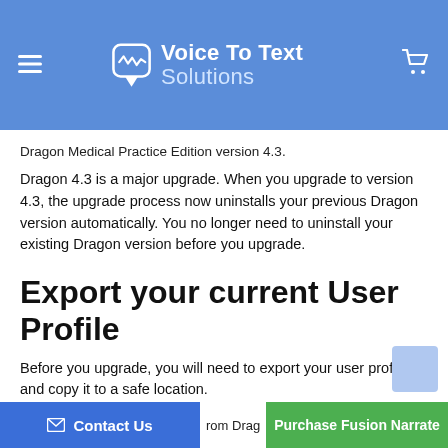[Figure (logo): Voice To Text Solutions header with logo icon, hamburger menu, and shopping cart on blue background]
Dragon Medical Practice Edition version 4.3.
Dragon 4.3 is a major upgrade. When you upgrade to version 4.3, the upgrade process now uninstalls your previous Dragon version automatically. You no longer need to uninstall your existing Dragon version before you upgrade.
Export your current User Profile
Before you upgrade, you will need to export your user profile and copy it to a safe location.